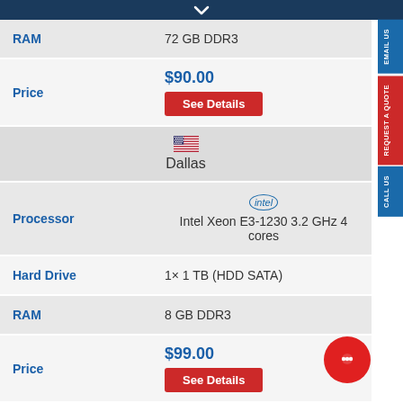| Field | Value |
| --- | --- |
| RAM | 72 GB DDR3 |
| Price | $90.00 — See Details |
| Dallas |  |
| Processor | Intel Xeon E3-1230 3.2 GHz 4 cores |
| Hard Drive | 1× 1 TB (HDD SATA) |
| RAM | 8 GB DDR3 |
| Price | $99.00 — See Details |
| Denver |  |